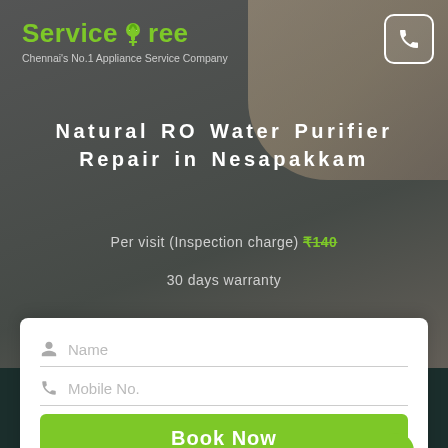[Figure (screenshot): ServiceTree logo with green tree icon and tagline 'Chennai's No.1 Appliance Service Company' on a dark overlay background with plumbing hardware visible]
Natural RO Water Purifier Repair in Nesapakkam
Per visit (Inspection charge) ₹140
30 days warranty
Name (form field)
Mobile No. (form field)
Book Now
Give missed call to book 08144 948 948